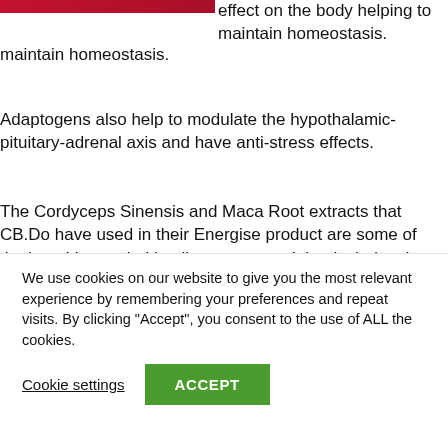[Figure (photo): Partial red/pink banner image at top left, cropped]
effect on the body helping to maintain homeostasis.
Adaptogens also help to modulate the hypothalamic-pituitary-adrenal axis and have anti-stress effects.
The Cordyceps Sinensis and Maca Root extracts that CB.Do have used in their Energise product are some of the best I have tried in all my years and that includes the likes of Cordyceps CS-4, raw maca root powders straight through to various extracts such as gelatinized maca.
The [partial text cut off]
We use cookies on our website to give you the most relevant experience by remembering your preferences and repeat visits. By clicking “Accept”, you consent to the use of ALL the cookies.
Cookie settings
ACCEPT